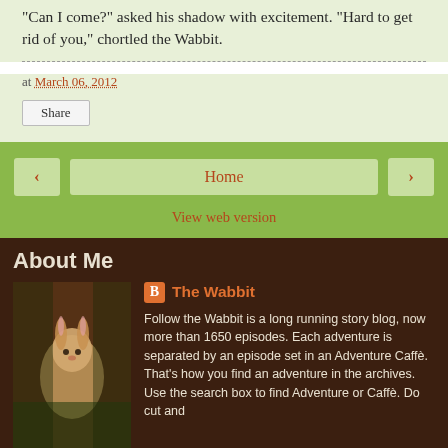"Can I come?" asked his shadow with excitement. "Hard to get rid of you," chortled the Wabbit.
at March 06, 2012
Share
Home
View web version
About Me
[Figure (photo): Photo of the Wabbit character - a rabbit figure against a dark background]
The Wabbit
Follow the Wabbit is a long running story blog, now more than 1650 episodes. Each adventure is separated by an episode set in an Adventure Caffè. That's how you find an adventure in the archives. Use the search box to find Adventure or Caffè. Do cut and paste because of the Italian accent in Caffè. An exciting story has just ended ...and another is starting! The Wabbit and Lovely Lapinette adventures are written by Coinneach Shanks. Background photographs are